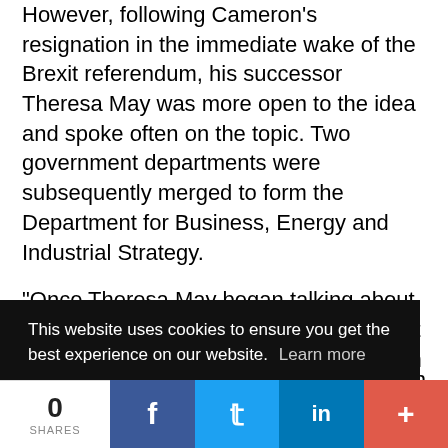However, following Cameron's resignation in the immediate wake of the Brexit referendum, his successor Theresa May was more open to the idea and spoke often on the topic. Two government departments were subsequently merged to form the Department for Business, Energy and Industrial Strategy.
"Once Theresa May began talking about it, suddenly everyone did and you almost became trampled in the crush. A problem it faced, however, was perception. [partial] an [partial] g
This website uses cookies to ensure you get the best experience on our website. Learn more
Got it!
0 SHARES